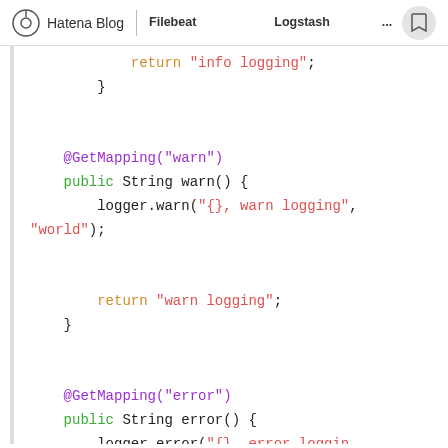Hatena Blog | Filebeat　　　　　　　Logstash　　　　　...
[Figure (screenshot): Java source code snippet showing warn() and error() controller methods with @GetMapping annotations, logger.warn and logger.error calls, and return statements. Code uses syntax highlighting: green for 'public', purple for '@GetMapping', red/orange for string literals, black for other tokens.]